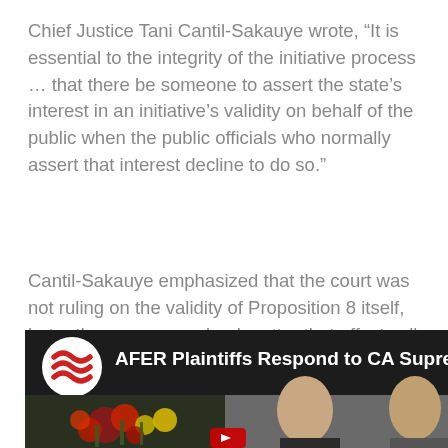Chief Justice Tani Cantil-Sakauye wrote, “It is essential to the integrity of the initiative process … that there be someone to assert the state’s interest in an initiative’s validity on behalf of the public when the public officials who normally assert that interest decline to do so.”
Cantil-Sakauye emphasized that the court was not ruling on the validity of Proposition 8 itself, but rather on a procedural matter that affects all initiatives enacted by California voters.
[Figure (screenshot): Video thumbnail showing AFER logo (red wavy lines on white circle) and title 'AFER Plaintiffs Respond to CA Supreme' on dark background, with flowers and two men visible below]